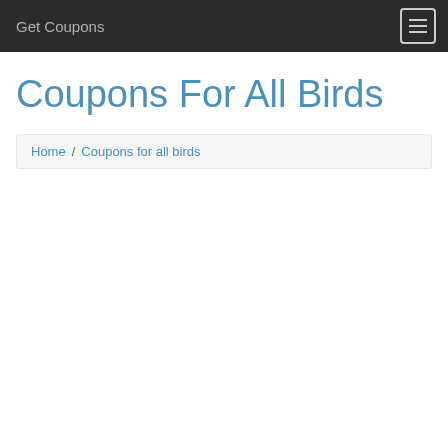Get Coupons
Coupons For All Birds
Home / Coupons for all birds